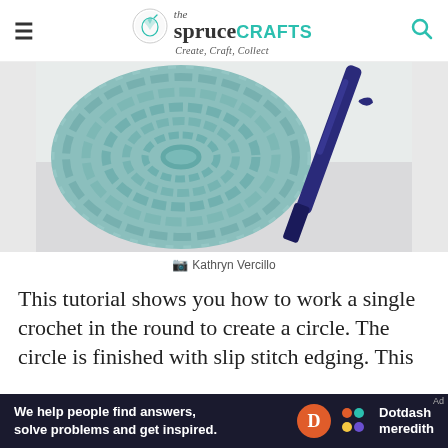the spruce CRAFTS — Create, Craft, Collect
[Figure (photo): Overhead photo of a round teal/sage crocheted circle made with single crochet in the round, with a dark blue crochet hook resting alongside it on a white surface.]
Kathryn Vercillo
This tutorial shows you how to work a single crochet in the round to create a circle. The circle is finished with slip stitch edging. This
[Figure (infographic): Dotdash Meredith advertisement banner: 'We help people find answers, solve problems and get inspired.' with Dotdash Meredith logo.]